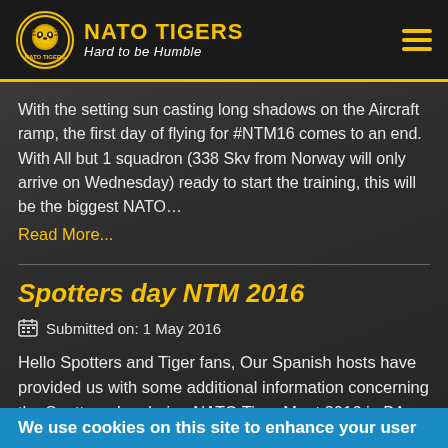NATO TIGERS — Hard to be Humble
With the setting sun casting long shadows on the Aircraft ramp, the first day of flying for #NTM16 comes to an end. With All but 1 squadron (338 Skv from Norway will only arrive on Wednesday) ready to start the training, this will be the biggest NATO… Read More...
Spotters day NTM 2016
Submitted on: 1 May 2016
Hello Spotters and Tiger fans, Our Spanish hosts have provided us with some additional information concerning the Spotters day during NATO Tiger Meet 2016 in BA Zaragoza. They have created an instruction leaflet, containing some inportent information...
We use cookies on this site to enhance your user